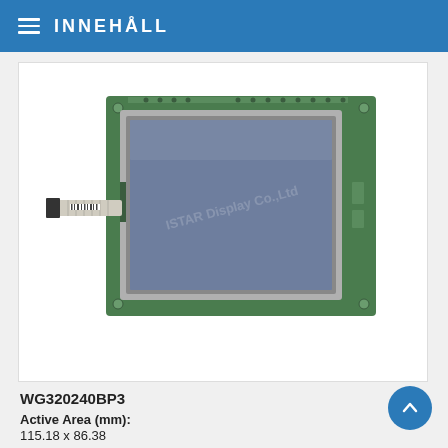INNEHÅLL
[Figure (photo): LCD display module WG320240BP3 with green PCB border, flat flex cable connector on the left side, and blue-gray active display area. Watermark 'ISTAR Display Co., Ltd' visible on screen.]
WG320240BP3
Active Area (mm):
115.18 x 86.38